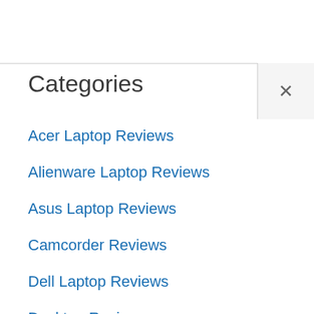Categories
Acer Laptop Reviews
Alienware Laptop Reviews
Asus Laptop Reviews
Camcorder Reviews
Dell Laptop Reviews
Desktop Reviews
Digital Camera Reviews